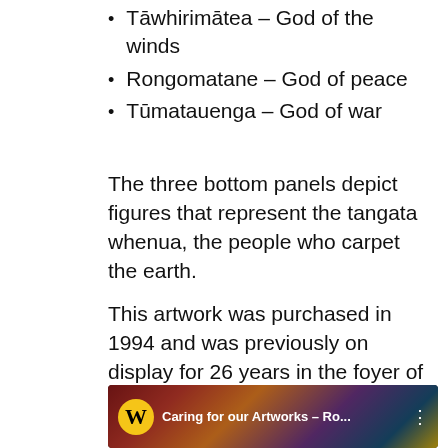Tāwhirimātea – God of the winds
Rongomatane – God of peace
Tūmatauenga – God of war
The three bottom panels depict figures that represent the tangata whenua, the people who carpet the earth.
This artwork was purchased in 1994 and was previously on display for 26 years in the foyer of the former Wellington City Council building on Wakefield Street.
[Figure (screenshot): Video thumbnail showing a YouTube-style player with the Wellington W logo and title 'Caring for our Artworks – Ro...' over a colorful Māori artwork image]